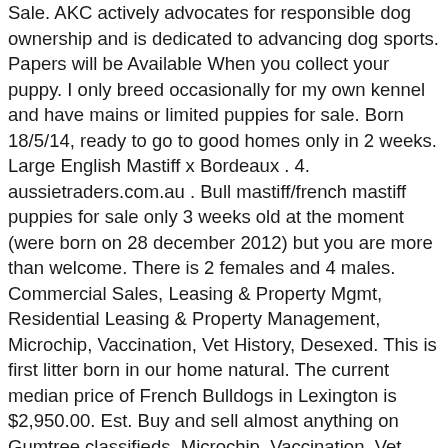Sale. AKC actively advocates for responsible dog ownership and is dedicated to advancing dog sports. Papers will be Available When you collect your puppy. I only breed occasionally for my own kennel and have mains or limited puppies for sale. Born 18/5/14, ready to go to good homes only in 2 weeks. Large English Mastiff x Bordeaux . 4. aussietraders.com.au . Bull mastiff/french mastiff puppies for sale only 3 weeks old at the moment (were born on 28 december 2012) but you are more than welcome. There is 2 females and 4 males. Commercial Sales, Leasing & Property Mgmt, Residential Leasing & Property Management, Microchip, Vaccination, Vet History, Desexed. This is first litter born in our home natural. The current median price of French Bulldogs in Lexington is $2,950.00. Est. Buy and sell almost anything on Gumtree classifieds. Microchip, Vaccination, Vet History; Breeder; Neapolitan Mastiff; Puppies only 3 Available now. ECELECTUS PARROT FEMALE. 70kg French Mastiff only 1 and half years old, prefect for studding. Pedigree english mastiff puppies for sale, we are taking expressions of interest for bronson and willows litter of gorgeous puppies bronson is a fawn